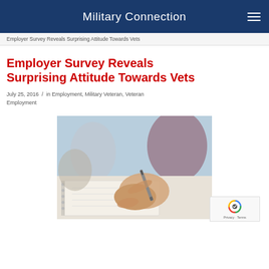Military Connection
Employer Survey Reveals Surprising Attitude Towards Vets
Employer Survey Reveals Surprising Attitude Towards Vets
July 25, 2016 / in Employment, Military Veteran, Veteran Employment
[Figure (photo): Close-up photo of people writing at a desk, with a hand holding a pen writing on paper, in a meeting or survey context.]